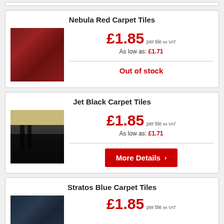Nebula Red Carpet Tiles
£1.85 per tile ex VAT
As low as: £1.71
Out of stock
Jet Black Carpet Tiles
£1.85 per tile ex VAT
As low as: £1.71
More Details
Stratos Blue Carpet Tiles
£1.85 per tile ex VAT